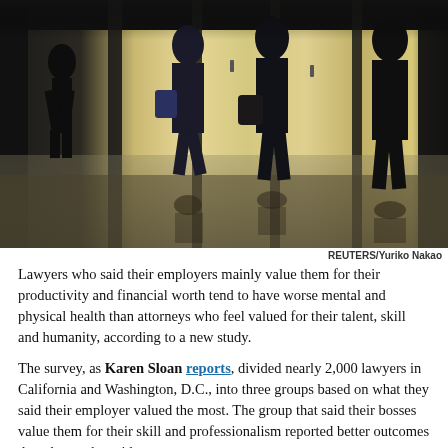[Figure (photo): Silhouettes of people walking through a glass-paneled building entrance/lobby, backlit with bright light, with reflections on the floor.]
REUTERS/Yuriko Nakao
Lawyers who said their employers mainly value them for their productivity and financial worth tend to have worse mental and physical health than attorneys who feel valued for their talent, skill and humanity, according to a new study.
The survey, as Karen Sloan reports, divided nearly 2,000 lawyers in California and Washington, D.C., into three groups based on what they said their employer valued the most. The group that said their bosses value them for their skill and professionalism reported better outcomes than those who said